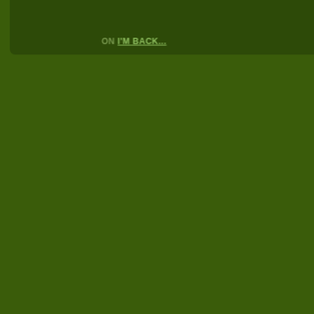ON I'M BACK...
impoverished, addi in Canada? I susp
But again, my mind tragedy as it unfold
As these tremors a ahead of the pack some serious strate
This economic cris the very fabric of w communities to rev
Feb 26, 2009 9:10:4 faith, leadership, mi
Com
constructiv